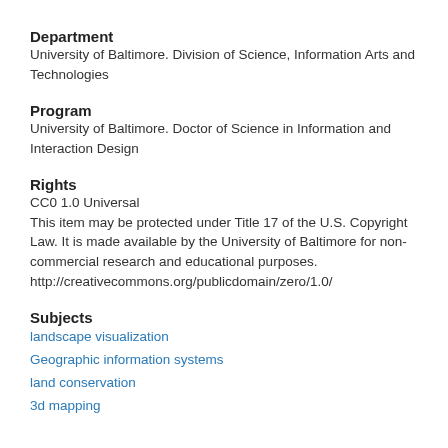Department
University of Baltimore. Division of Science, Information Arts and Technologies
Program
University of Baltimore. Doctor of Science in Information and Interaction Design
Rights
CC0 1.0 Universal
This item may be protected under Title 17 of the U.S. Copyright Law. It is made available by the University of Baltimore for non-commercial research and educational purposes. http://creativecommons.org/publicdomain/zero/1.0/
Subjects
landscape visualization
Geographic information systems
land conservation
3d mapping